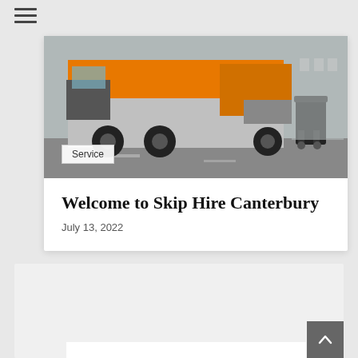[Figure (other): Hamburger menu icon (three horizontal lines) in top-left corner]
[Figure (photo): Orange garbage/waste collection truck on a street with dark wheelie bins beside it]
Service
Welcome to Skip Hire Canterbury
July 13, 2022
[Figure (other): Grey box section at bottom of page, partially visible, with a dark back-to-top arrow button in the bottom right corner]